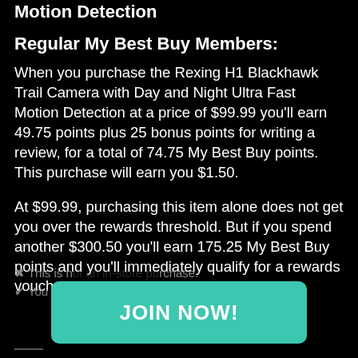Motion Detection
Regular My Best Buy Members:
When you purchase the Rexing H1 Blackhawk Trail Camera with Day and Night Ultra Fast Motion Detection at a price of $99.99 you'll earn 49.75 points plus 25 bonus points for writing a review, for a total of 74.75 My Best Buy points. This purchase will earn you $1.50.
At $99.99, purchasing this item alone does not get you over the rewards threshold. But if you spend another $300.50 you'll earn 175.25 My Best Buy points and you'll immediately qualify for a rewards voucher.
✖ This is not an in-store purchase.
✔ You will earn points.